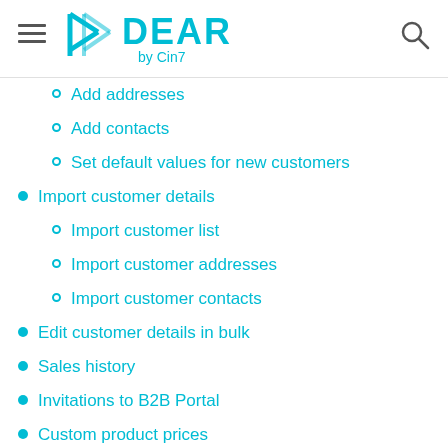DEAR by Cin7
Add addresses
Add contacts
Set default values for new customers
Import customer details
Import customer list
Import customer addresses
Import customer contacts
Edit customer details in bulk
Sales history
Invitations to B2B Portal
Custom product prices